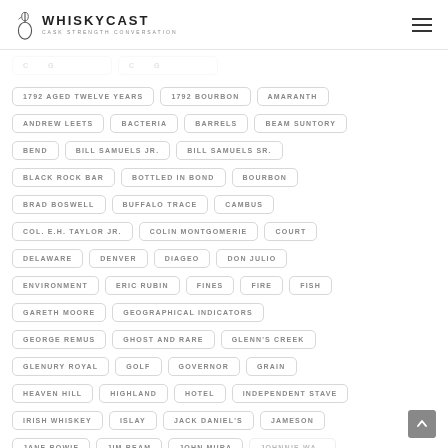WhiskyCast — Cask Strength Conversation
1792 AGED TWELVE YEARS
1792 BOURBON
AMARANTH
ANDREW LEETS
BACTERIA
BARRELS
BEAM SUNTORY
BEND
BILL SAMUELS JR.
BILL SAMUELS SR.
BLACK ROCK BAR
BOTTLED IN BOND
BOURBON
BRAD BOSWELL
BUFFALO TRACE
CAMBUS
COL. E.H. TAYLOR JR.
COLIN MONTGOMERIE
COURT
DELAWARE
DENVER
DIAGEO
DON JULIO
ENVIRONMENT
ERIC RUBIN
FINES
FIRE
FISH
GARETH MOORE
GEOGRAPHICAL INDICATORS
GEORGE REMUS
GHOST AND RARE
GLENN'S CREEK
GLENURY ROYAL
GOLF
GOVERNOR
GRAIN
HEAVEN HILL
HIGHLAND
HOTEL
INDEPENDENT STAVE
IRISH WHISKEY
ISLAY
JACK DANIEL'S
JAMESON
JANE BOWIE
JIM BEAM
JOHN MURA
JOHNNIE WALKER